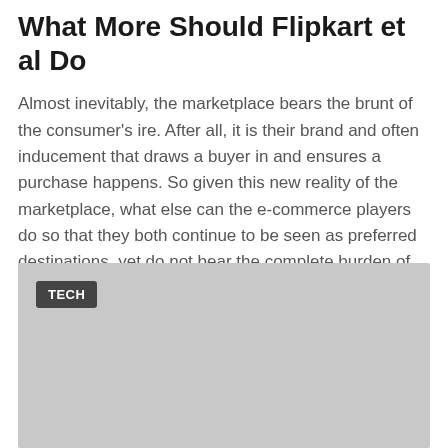What More Should Flipkart et al Do
Almost inevitably, the marketplace bears the brunt of the consumer's ire. After all, it is their brand and often inducement that draws a buyer in and ensures a purchase happens. So given this new reality of the marketplace, what else can the e-commerce players do so that they both continue to be seen as preferred destinations, yet do not bear the complete burden of their vendors' actions?
[Figure (photo): Grey placeholder image block with a dark 'TECH' badge label in the upper left corner]